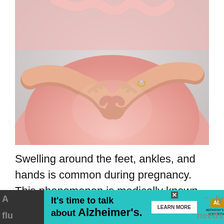[Figure (photo): Close-up photo of a pregnant woman in a pink shirt holding her belly in a heart shape with both hands, wearing a ring on her right hand.]
Swelling around the feet, ankles, and hands is common during pregnancy. This phenomenon is medically known as “edema,” and it often happens as the pregnancy progresses.
[Figure (other): Advertisement banner: It’s time to talk about Alzheimer’s. LEARN MORE button. Alzheimer’s association logo. Background text partially visible: 'A ... fly... needs']